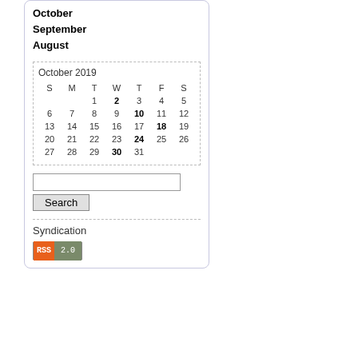October
September
August
| S | M | T | W | T | F | S |
| --- | --- | --- | --- | --- | --- | --- |
|  |  | 1 | 2 | 3 | 4 | 5 |
| 6 | 7 | 8 | 9 | 10 | 11 | 12 |
| 13 | 14 | 15 | 16 | 17 | 18 | 19 |
| 20 | 21 | 22 | 23 | 24 | 25 | 26 |
| 27 | 28 | 29 | 30 | 31 |  |  |
Search
Syndication
[Figure (other): RSS 2.0 badge with orange RSS label and grey-green 2.0 label]